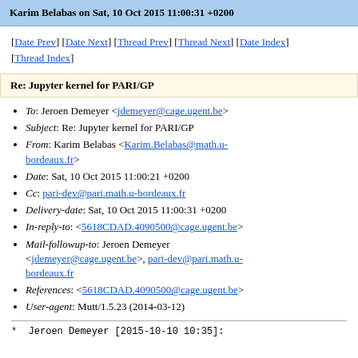Karim Belabas on Sat, 10 Oct 2015 11:00:31 +0200
[Date Prev] [Date Next] [Thread Prev] [Thread Next] [Date Index] [Thread Index]
Re: Jupyter kernel for PARI/GP
To: Jeroen Demeyer <jdemeyer@cage.ugent.be>
Subject: Re: Jupyter kernel for PARI/GP
From: Karim Belabas <Karim.Belabas@math.u-bordeaux.fr>
Date: Sat, 10 Oct 2015 11:00:21 +0200
Cc: pari-dev@pari.math.u-bordeaux.fr
Delivery-date: Sat, 10 Oct 2015 11:00:31 +0200
In-reply-to: <5618CDAD.4090500@cage.ugent.be>
Mail-followup-to: Jeroen Demeyer <jdemeyer@cage.ugent.be>, pari-dev@pari.math.u-bordeaux.fr
References: <5618CDAD.4090500@cage.ugent.be>
User-agent: Mutt/1.5.23 (2014-03-12)
* Jeroen Demeyer [2015-10-10 10:35]: